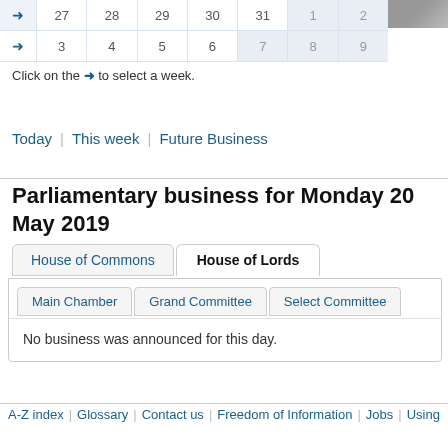|  | 27 | 28 | 29 | 30 | 31 | 1 | 2 |
| --- | --- | --- | --- | --- | --- | --- | --- |
| → | 27 | 28 | 29 | 30 | 31 | 1 | 2 |
|  | 3 | 4 | 5 | 6 | 7 | 8 | 9 |
| --- | --- | --- | --- | --- | --- | --- | --- |
| → | 3 | 4 | 5 | 6 | 7 | 8 | 9 |
Click on the → to select a week.
Today | This week | Future Business
Parliamentary business for Monday 20 May 2019
House of Commons | House of Lords
Main Chamber | Grand Committee | Select Committee
No business was announced for this day.
A-Z index | Glossary | Contact us | Freedom of Information | Jobs | Using